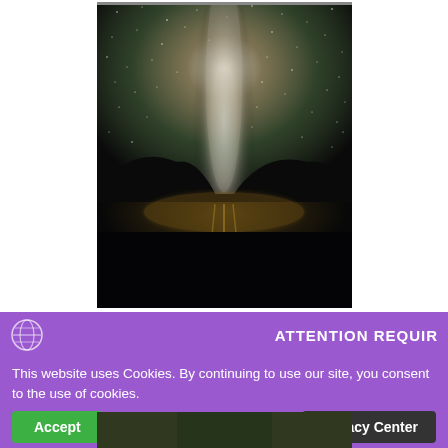[Figure (photo): Night sky photograph showing the Milky Way galaxy arching over a mountain lake. The center of the Milky Way glows brightly in the middle of the frame, with stars scattered across the dark sky. Dark mountain silhouettes are reflected in the calm lake water below, with warm golden light glowing near the horizon between the mountains.]
ATTENTION REQUIR
This website uses Cookies. By continuing to use our site, you consent to the use of cookies.
Accept
Privacy Center
[Figure (photo): Partial view of another photograph visible at the bottom of the page, appears to show a nature scene.]